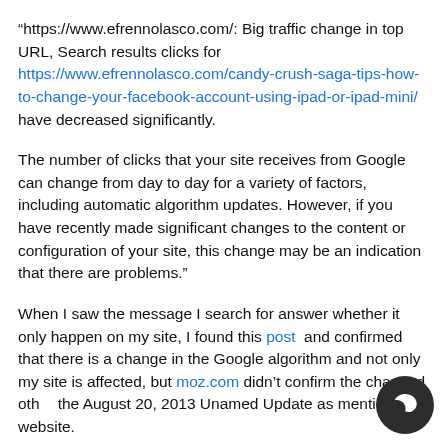“https://www.efrennolasco.com/: Big traffic change in top URL, Search results clicks for https://www.efrennolasco.com/candy-crush-saga-tips-how-to-change-your-facebook-account-using-ipad-or-ipad-mini/ have decreased significantly.
The number of clicks that your site receives from Google can change from day to day for a variety of factors, including automatic algorithm updates. However, if you have recently made significant changes to the content or configuration of your site, this change may be an indication that there are problems.”
When I saw the message I search for answer whether it only happen on my site, I found this post and confirmed that there is a change in the Google algorithm and not only my site is affected, but moz.com didn’t confirm the changed oth... the August 20, 2013 Unamed Update as mention the... website.